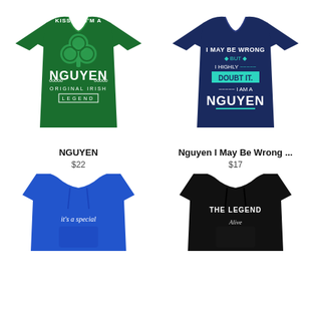[Figure (photo): Green t-shirt with shamrock design and text NGUYEN ORIGINAL IRISH LEGEND]
NGUYEN
$22
[Figure (photo): Navy t-shirt with text I MAY BE WRONG BUT I HIGHLY DOUBT IT. I AM A NGUYEN]
Nguyen I May Be Wrong ...
$17
[Figure (photo): Blue hoodie with text it's a special (partially visible)]
[Figure (photo): Black hoodie with text THE LEGEND (partially visible)]